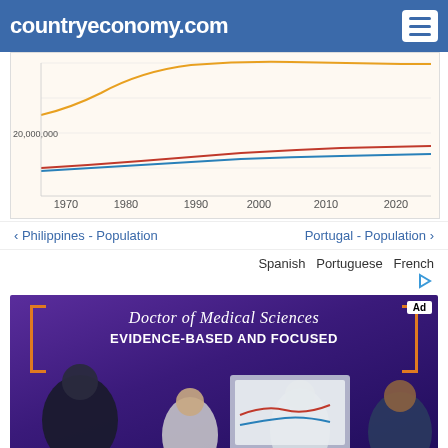countryeconomy.com
[Figure (continuous-plot): Line chart showing population trends over time from 1970 to 2020+. Two lines (red and blue) starting near 20,000,000 and gradually rising. An orange/yellow line is visible at the top. X-axis labels: 1970, 1980, 1990, 2000, 2010, 2020. Y-axis label: 20,000,000.]
‹ Philippines - Population    Portugal - Population ›
Spanish  Portuguese  French
[Figure (photo): Advertisement banner for Doctor of Medical Sciences program. Text reads 'Doctor of Medical Sciences EVIDENCE-BASED AND FOCUSED'. Shows people in a meeting room with a doctor presenting at a screen showing medical data charts. Purple/dark background with orange bracket decorations.]